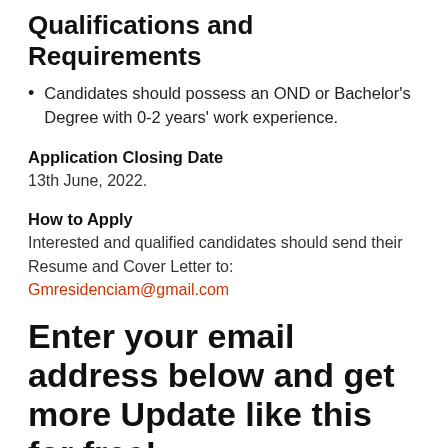Qualifications and Requirements
Candidates should possess an OND or Bachelor's Degree with 0-2 years' work experience.
Application Closing Date
13th June, 2022.
How to Apply
Interested and qualified candidates should send their Resume and Cover Letter to: Gmresidenciam@gmail.com
Enter your email address below and get more Update like this for free!
Subscribe to the site Jobrecruitmentportal.com using your Email address. Subscription is totally FREE